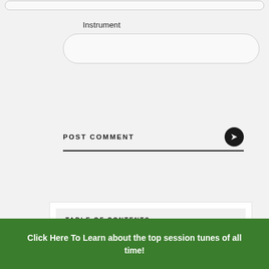[Figure (screenshot): Partial rounded pill input field at top of page, cut off]
Instrument
[Figure (screenshot): Rounded pill input field for Instrument text entry]
POST COMMENT
TABLE OF CONTENTS
Click Here To Learn about the top session tunes of all time!